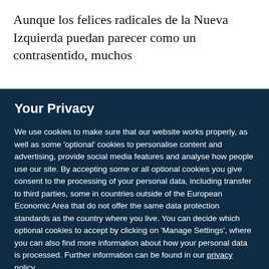Aunque los felices radicales de la Nueva Izquierda puedan parecer como un contrasentido, muchos
Your Privacy
We use cookies to make sure that our website works properly, as well as some ‘optional’ cookies to personalise content and advertising, provide social media features and analyse how people use our site. By accepting some or all optional cookies you give consent to the processing of your personal data, including transfer to third parties, some in countries outside of the European Economic Area that do not offer the same data protection standards as the country where you live. You can decide which optional cookies to accept by clicking on ‘Manage Settings’, where you can also find more information about how your personal data is processed. Further information can be found in our privacy policy.
Accept all cookies
Manage preferences